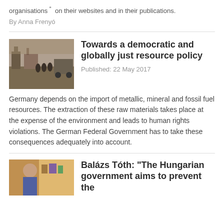organisations on their websites and in their publications.
By Anna Frenyó
Towards a democratic and globally just resource policy
Published: 22 May 2017
[Figure (photo): People at a mining site with heavy machinery]
Germany depends on the import of metallic, mineral and fossil fuel resources. The extraction of these raw materials takes place at the expense of the environment and leads to human rights violations. The German Federal Government has to take these consequences adequately into account.
Balázs Tóth: "The Hungarian government aims to prevent the
[Figure (photo): Person indoors, colorful background]